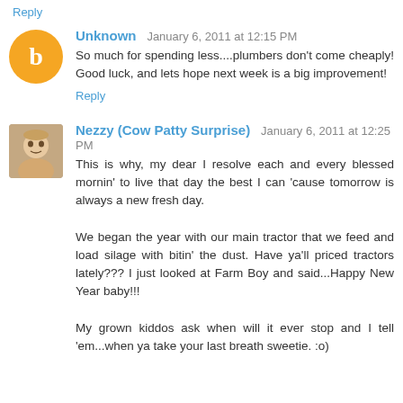Reply
Unknown  January 6, 2011 at 12:15 PM
So much for spending less....plumbers don't come cheaply! Good luck, and lets hope next week is a big improvement!
Reply
Nezzy (Cow Patty Surprise)  January 6, 2011 at 12:25 PM
This is why, my dear I resolve each and every blessed mornin' to live that day the best I can 'cause tomorrow is always a new fresh day.

We began the year with our main tractor that we feed and load silage with bitin' the dust. Have ya'll priced tractors lately??? I just looked at Farm Boy and said...Happy New Year baby!!!

My grown kiddos ask when will it ever stop and I tell 'em...when ya take your last breath sweetie. :o)